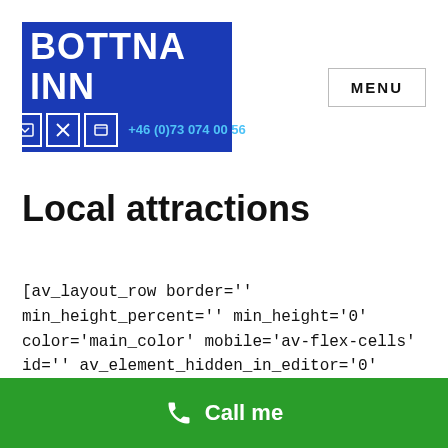[Figure (logo): Bottna Inn logo: blue rectangle with white bold text 'BOTTNA INN', icons row, and phone number '+46 (0)73 074 00 56' in light blue]
MENU
Local attractions
[av_layout_row border='' min_height_percent='' min_height='0' color='main_color' mobile='av-flex-cells' id='' av_element_hidden_in_editor='0' mobile_breaking='' av-desktop-hide='' av-
Call me